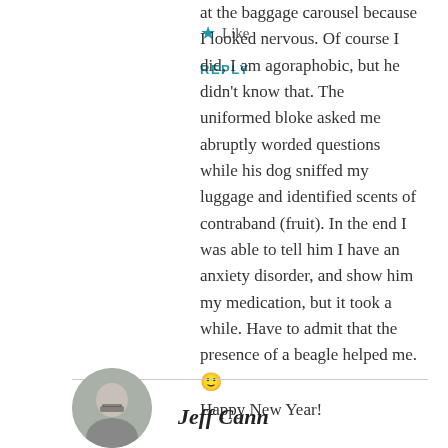at the baggage carousel because I looked nervous. Of course I did, I am agoraphobic, but he didn't know that. The uniformed bloke asked me abruptly worded questions while his dog sniffed my luggage and identified scents of contraband (fruit). In the end I was able to tell him I have an anxiety disorder, and show him my medication, but it took a while. Have to admit that the presence of a beagle helped me. 🙂 Happy New Year!
★ Like
REPLY
Jeff Cann